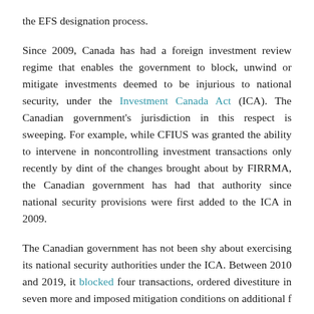the EFS designation process.
Since 2009, Canada has had a foreign investment review regime that enables the government to block, unwind or mitigate investments deemed to be injurious to national security, under the Investment Canada Act (ICA). The Canadian government's jurisdiction in this respect is sweeping. For example, while CFIUS was granted the ability to intervene in noncontrolling investment transactions only recently by dint of the changes brought about by FIRRMA, the Canadian government has had that authority since national security provisions were first added to the ICA in 2009.
The Canadian government has not been shy about exercising its national security authorities under the ICA. Between 2010 and 2019, it blocked four transactions, ordered divestiture in seven more and imposed mitigation conditions on additional f…